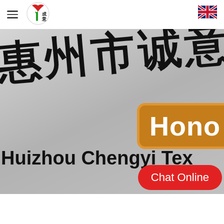[Figure (logo): Chengyi textile company logo: circular logo with a stylized Y shape in red and green, with Chinese characters 成意 inside]
[Figure (photo): Company signage photo showing Chinese characters 惠州市诚意纺织 and a Huawei Honor badge, with English text 'Huizhou Chengyi Tex' visible at the bottom of the sign]
Chat Online